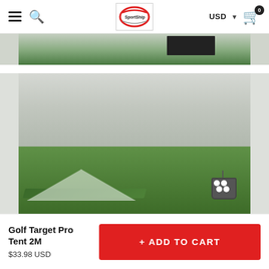Navigation header with hamburger menu, search icon, logo, USD currency selector, and cart icon
[Figure (photo): Partial product photo showing green mat surface - top strip]
[Figure (photo): Golf Target Pro Tent 2M product photo showing white net tent on green grass with bucket of golf balls]
Golf Target Pro Tent 2M
$33.98 USD
+ ADD TO CART